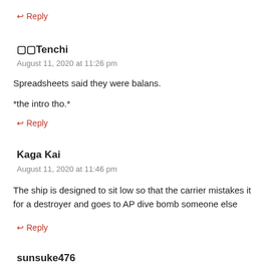↩ Reply
🔲🔲Tenchi
August 11, 2020 at 11:26 pm
Spreadsheets said they were balans.
*the intro tho.*
↩ Reply
Kaga Kai
August 11, 2020 at 11:46 pm
The ship is designed to sit low so that the carrier mistakes it for a destroyer and goes to AP dive bomb someone else
↩ Reply
sunsuke476